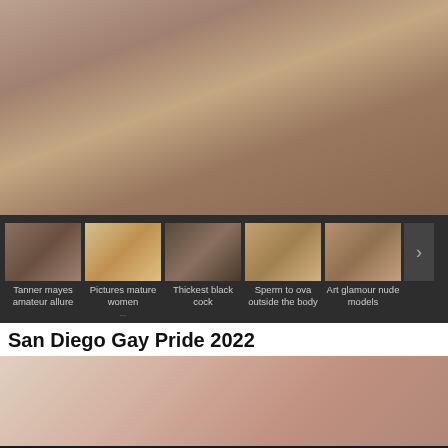[Figure (photo): Large main image occupying top portion of page]
[Figure (photo): Thumbnail strip with 5 thumbnail images and navigation arrow]
Tanner mayes amateur allure
Pictures mature women
Thickest black cock
Sperm to ova outside the body
Art glamour nude models
San Diego Gay Pride 2022
[Figure (photo): Bottom image partially visible]